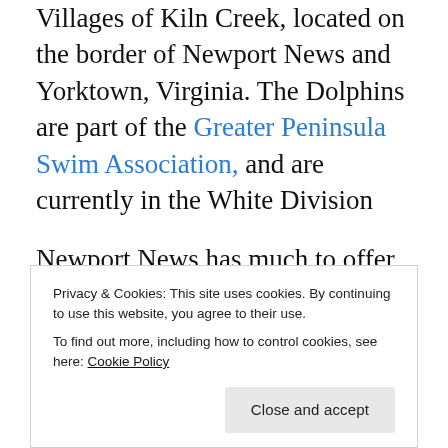Villages of Kiln Creek, located on the border of Newport News and Yorktown, Virginia. The Dolphins are part of the Greater Peninsula Swim Association, and are currently in the White Division
Newport News has much to offer residents with 32 parks to play in or relax in, two public boat ramps, a fishing pier and Hilton Pier Beach. Stop by the Peninsula Fine Arts Center and be inspired by the works of art.
The York County Parks and Recreation offers year-round programs for youth and adults. Available facilities include a
Privacy & Cookies: This site uses cookies. By continuing to use this website, you agree to their use.
To find out more, including how to control cookies, see here: Cookie Policy
Close and accept
neighborhood park sites, three smaller parks totaling of